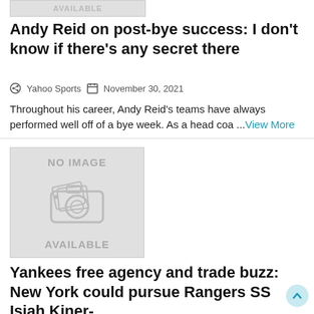[Figure (other): No image available placeholder box at top (partially visible)]
Andy Reid on post-bye success: I don't know if there's any secret there
Yahoo Sports   November 30, 2021
Throughout his career, Andy Reid's teams have always performed well off of a bye week. As a head coa ...View More
[Figure (other): No image available placeholder with camera icon]
Yankees free agency and trade buzz: New York could pursue Rangers SS Isiah Kiner-